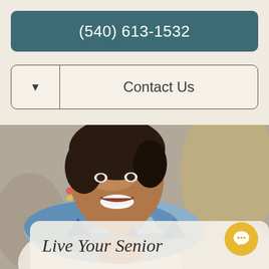(540) 613-1532
Contact Us
[Figure (photo): Smiling middle-aged Black woman with short natural hair, wearing a patterned blue and white scarf and white top, hands clasped together, photographed in warm indoor setting]
Live Your Senior